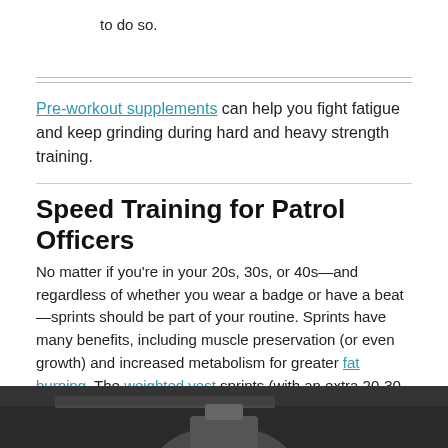to do so.
Pre-workout supplements can help you fight fatigue and keep grinding during hard and heavy strength training.
Speed Training for Patrol Officers
No matter if you’re in your 20s, 30s, or 40s—and regardless of whether you wear a badge or have a beat—sprints should be part of your routine. Sprints have many benefits, including muscle preservation (or even growth) and increased metabolism for greater fat burning. The weighted vest sprints (with an extra 20-30 pounds) replicate the task of running in duty gear.
[Figure (photo): Photo of a person in a gym or training facility, partially visible at the bottom of the page, with overhead lighting visible.]